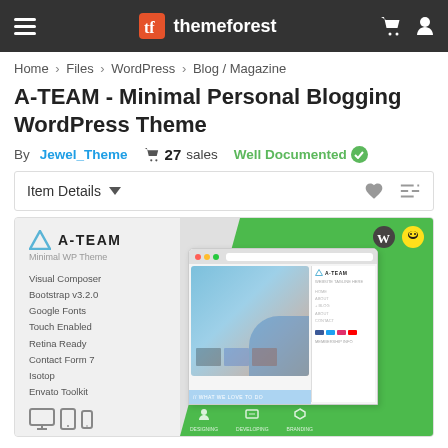themeforest
Home > Files > WordPress > Blog / Magazine
A-TEAM - Minimal Personal Blogging WordPress Theme
By Jewel_Theme  🛒 27 sales  Well Documented ✅
Item Details ▼
[Figure (screenshot): A-TEAM theme preview showing the theme logo, feature list (Visual Composer, Bootstrap v3.2.0, Google Fonts, Touch Enabled, Retina Ready, Contact Form 7, Isotop, Envato Toolkit), device icons, browser mockup with tablet screenshot, and green background with WordPress and Mailchimp badges.]